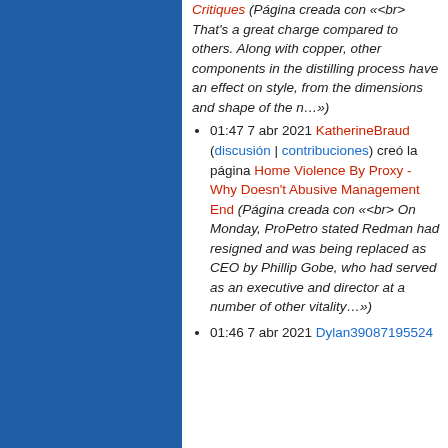Critiques (Página creada con «<br> That's a great charge compared to others. Along with copper, other components in the distilling process have an effect on style, from the dimensions and shape of the n…»)
01:47 7 abr 2021 KatherineBraud (discusión | contribuciones) creó la página Home Violence By Proxy - Why Doesn't Abusive Management End (Página creada con «<br> On Monday, ProPetro stated Redman had resigned and was being replaced as CEO by Phillip Gobe, who had served as an executive and director at a number of other vitality…»)
01:46 7 abr 2021 Dylan39087195524